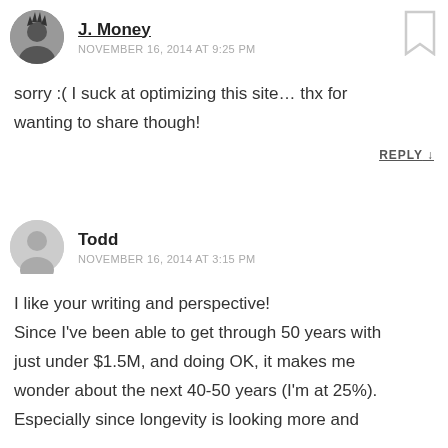[Figure (photo): Circular avatar photo of J. Money with dark hair]
J. Money
NOVEMBER 16, 2014 AT 9:25 PM
[Figure (illustration): Bookmark icon in top right corner]
sorry :( I suck at optimizing this site… thx for wanting to share though!
REPLY ↓
[Figure (illustration): Generic grey circular avatar for Todd]
Todd
NOVEMBER 16, 2014 AT 3:15 PM
I like your writing and perspective! Since I've been able to get through 50 years with just under $1.5M, and doing OK, it makes me wonder about the next 40-50 years (I'm at 25%). Especially since longevity is looking more and